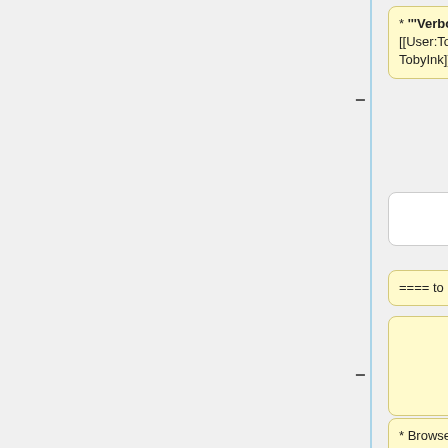[Figure (screenshot): Diff view showing wiki markup changes. Left side shows old yellow boxes with removed content, right side shows blue box with added content. A vertical blue line separates left and right panels. Minus and plus markers indicate removed and added lines.]
* '''Verbose''' - [[User:TobyInk|TobyInk]]
==== to do ====
Condensing would enable this:
* Browser testing. This code sample must be tested in various browsers to determine how they process and handle pages with such code
*# determine